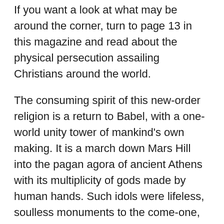If you want a look at what may be around the corner, turn to page 13 in this magazine and read about the physical persecution assailing Christians around the world.
The consuming spirit of this new-order religion is a return to Babel, with a one-world unity tower of mankind's own making. It is a march down Mars Hill into the pagan agora of ancient Athens with its multiplicity of gods made by human hands. Such idols were lifeless, soulless monuments to the come-one, come-all addiction of the pagan world.
We hear much these days of the desire to do